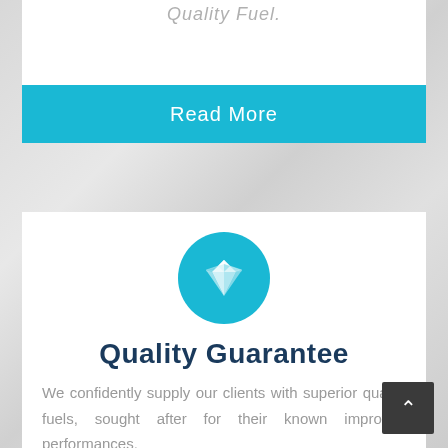Quality Fuel.
Read More
[Figure (illustration): Teal/cyan circle with a white diamond gem icon in the center]
Quality Guarantee
We confidently supply our clients with superior quality fuels, sought after for their known improved performances.